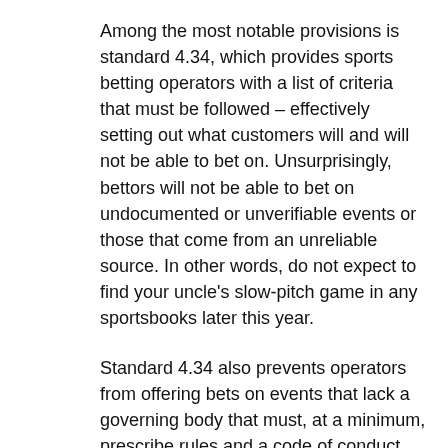Among the most notable provisions is standard 4.34, which provides sports betting operators with a list of criteria that must be followed – effectively setting out what customers will and will not be able to bet on. Unsurprisingly, bettors will not be able to bet on undocumented or unverifiable events or those that come from an unreliable source. In other words, do not expect to find your uncle's slow-pitch game in any sportsbooks later this year.
Standard 4.34 also prevents operators from offering bets on events that lack a governing body that must, at a minimum, prescribe rules and a code of conduct that includes a prohibition on betting by insiders. Simply put, it has to be a legitimate league for an operator to offer bets on the sport. This provision might prove challenging for some upstart esports leagues that often lack appropriate oversight. It is also worth noting that the AGCO has defined esports as a sport, for the purpose of the